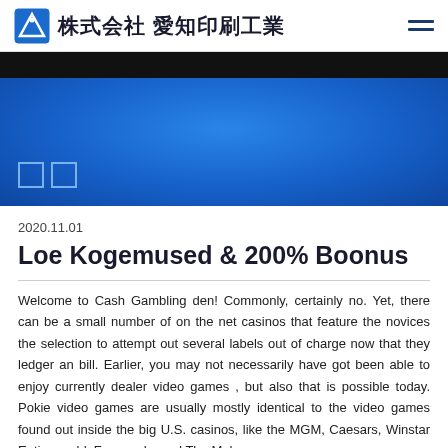株式会社 愛知印刷工業
[Figure (illustration): Blue hero banner with two small outlined squares at bottom left]
2020.11.01
Loe Kogemused & 200% Boonus
Welcome to Cash Gambling den! Commonly, certainly no. Yet, there can be a small number of on the net casinos that feature the novices the selection to attempt out several labels out of charge now that they ledger an bill. Earlier, you may not necessarily have got been able to enjoy currently dealer video games , but also that is possible today. Pokie video games are usually mostly identical to the video games found out inside the big U.S. casinos, like the MGM, Caesars, Winstar Entire world, Foxwoods, and The Mohegan Sun.